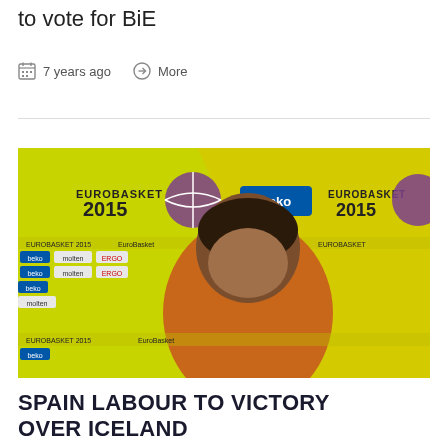to vote for BiE
7 years ago   More
[Figure (photo): A basketball player in an orange jersey at a press conference backdrop showing EuroBasket 2015 logos and sponsor banners including beko, molten, ERGO, Champion.]
SPAIN LABOUR TO VICTORY OVER ICELAND